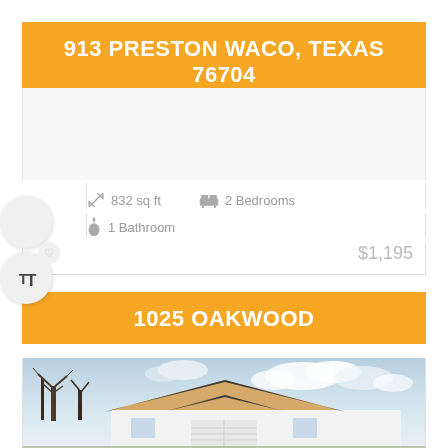913 PRESTON WACO, TEXAS 76704
832 sq ft   2 Bedrooms   1 Bathroom
$1,195
1025 OAKWOOD
[Figure (photo): Exterior photo of a single-story house with a triangular roof peak, white siding, and a cloudy sky background with bare trees visible on the left side.]